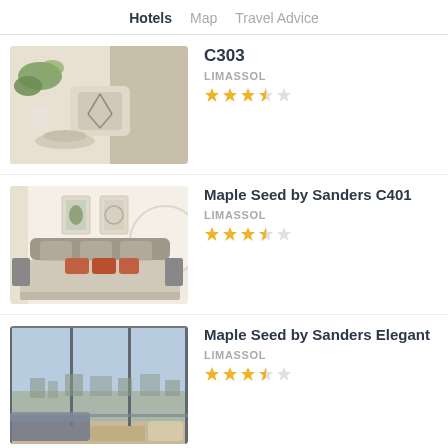Hotels  Map  Travel Advice
C303
LIMASSSOL
★★★★☆
Maple Seed by Sanders C401
LIMASSSOL
★★★★☆
Maple Seed by Sanders Elegant
LIMASSSOL
★★★★☆